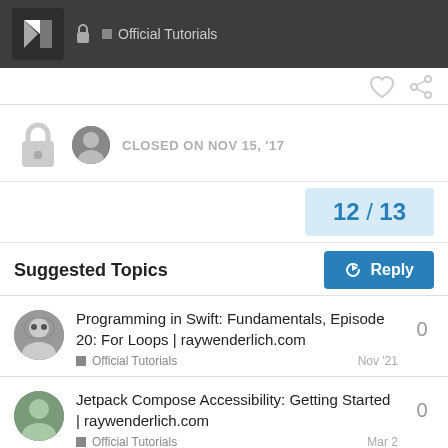Official Tutorials
CLOSED ON NOV 15, '17
12 / 13
Suggested Topics
Programming in Swift: Fundamentals, Episode 20: For Loops | raywenderlich.com — Official Tutorials — Nov '21 — 0
Jetpack Compose Accessibility: Getting Started | raywenderlich.com — Official Tutorials — Mar 2 — 0